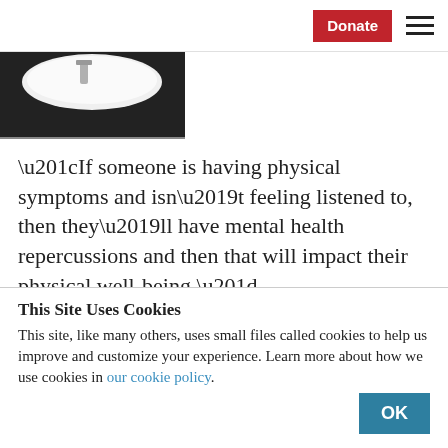Donate [hamburger menu]
[Figure (photo): Partial view of a white sink or bowl with a faucet, black background at bottom]
“If someone is having physical symptoms and isn’t feeling listened to, then they’ll have mental health repercussions and then that will impact their physical well-being,”
This Site Uses Cookies
This site, like many others, uses small files called cookies to help us improve and customize your experience. Learn more about how we use cookies in our cookie policy.